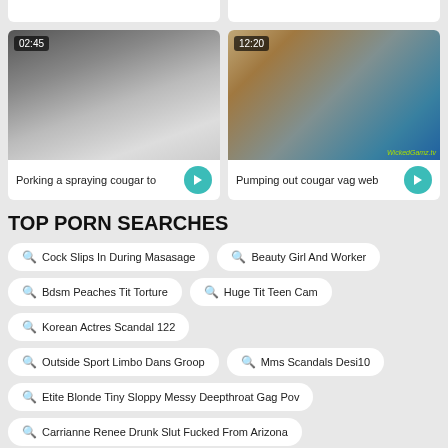[Figure (screenshot): Video thumbnail left - dark blurry close-up, duration 02:45]
[Figure (screenshot): Video thumbnail right - woman in blue outfit, duration 12:20]
Porking a spraying cougar to
Pumping out cougar vag web
TOP PORN SEARCHES
Cock Slips In During Masasage
Beauty Girl And Worker
Bdsm Peaches Tit Torture
Huge Tit Teen Cam
Korean Actres Scandal 122
Outside Sport Limbo Dans Groop
Mms Scandals Desi10
Etite Blonde Tiny Sloppy Messy Deepthroat Gag Pov
Carrianne Renee Drunk Slut Fucked From Arizona